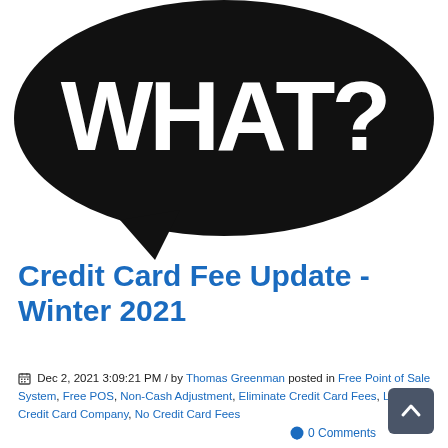[Figure (illustration): Black speech bubble with bold white text reading 'WHAT?' with a question mark, pointing downward-left.]
Credit Card Fee Update - Winter 2021
Dec 2, 2021 3:09:21 PM / by Thomas Greenman posted in Free Point of Sale System, Free POS, Non-Cash Adjustment, Eliminate Credit Card Fees, Local Credit Card Company, No Credit Card Fees
0 Comments